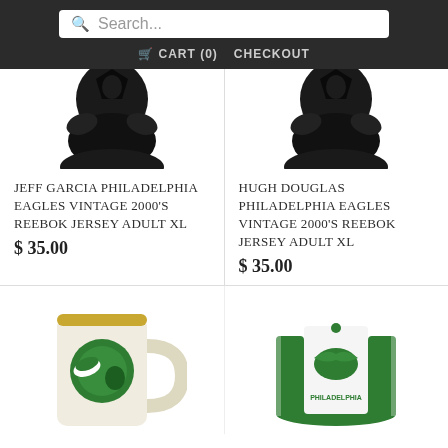Search... | CART (0) | CHECKOUT
[Figure (photo): Philadelphia Eagles vintage jersey partially covered by dark plastic bag, left product]
JEFF GARCIA PHILADELPHIA EAGLES VINTAGE 2000'S REEBOK JERSEY ADULT XL
$ 35.00
[Figure (photo): Philadelphia Eagles vintage jersey partially covered by dark plastic bag, right product]
HUGH DOUGLAS PHILADELPHIA EAGLES VINTAGE 2000'S REEBOK JERSEY ADULT XL
$ 35.00
[Figure (photo): Philadelphia Eagles ceramic mug with green helmet logo]
[Figure (photo): Philadelphia Eagles vintage green trucker hat with eagle logo and PHILADELPHIA text]